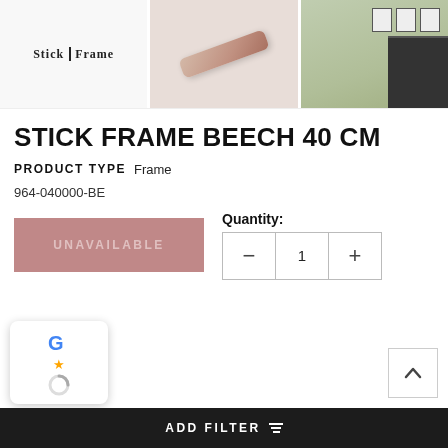[Figure (photo): Three product images in a row: left shows Stick Frame logo on white background, center shows beech wood stick frame detail closeup, right shows room scene with wall frames on green wall]
STICK FRAME BEECH 40 CM
PRODUCT TYPE  Frame
964-040000-BE
UNAVAILABLE
Quantity: 1
[Figure (logo): Google reviews widget partially visible with Google G logo, star rating, and loading spinner]
[Figure (other): Scroll to top button with chevron up arrow]
ADD FILTER